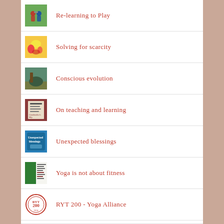Re-learning to Play
Solving for scarcity
Conscious evolution
On teaching and learning
Unexpected blessings
Yoga is not about fitness
RYT 200 - Yoga Alliance
Follow Blog via Email